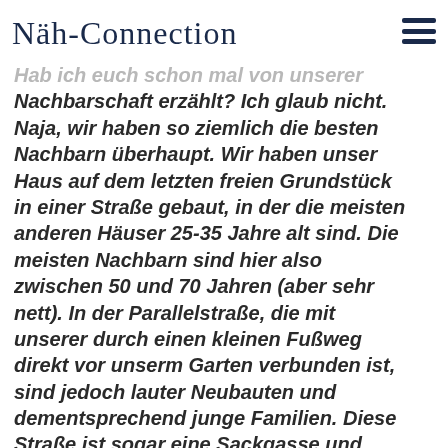or all kids in our garden.
Näh-Connection
Hab ich euch schon mal von unserer Nachbarschaft erzählt? Ich glaub nicht. Naja, wir haben so ziemlich die besten Nachbarn überhaupt. Wir haben unser Haus auf dem letzten freien Grundstück in einer Straße gebaut, in der die meisten anderen Häuser 25-35 Jahre alt sind. Die meisten Nachbarn sind hier also zwischen 50 und 70 Jahren (aber sehr nett). In der Parallelstraße, die mit unserer durch einen kleinen Fußweg direkt vor unserm Garten verbunden ist, sind jedoch lauter Neubauten und dementsprechend junge Familien. Diese Straße ist sogar eine Sackgasse und praktisch ein Kinderparadies, das bei uns wechselnd als Bullerbü oder Krachmacherstraße bezeichnet wird. Die Kinder können toben, radeln, in jedem